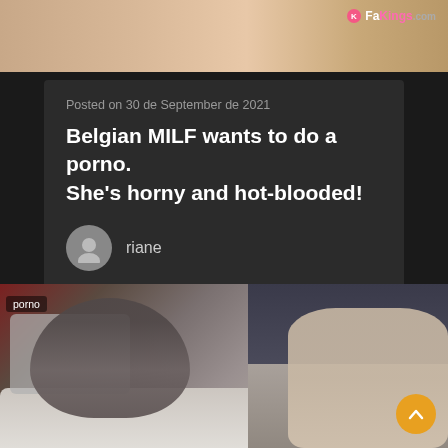[Figure (photo): Top banner photo — adult content image partially visible, with FaKings.com logo in the top right corner]
Posted on 30 de September de 2021
Belgian MILF wants to do a porno. She's horny and hot-blooded!
riane
[Figure (photo): Bottom screenshot showing two people in a room, with a 'porno' badge overlay in the top left and an orange scroll-up button in the bottom right]